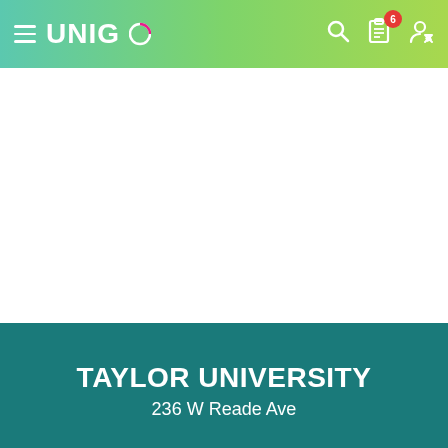UNIGO navigation bar
[Figure (screenshot): White content area placeholder]
TAYLOR UNIVERSITY
236 W Reade Ave